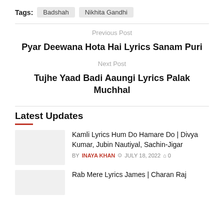Tags: Badshah   Nikhita Gandhi
Previous Post
Pyar Deewana Hota Hai Lyrics Sanam Puri
Next Post
Tujhe Yaad Badi Aaungi Lyrics Palak Muchhal
Latest Updates
Kamli Lyrics Hum Do Hamare Do | Divya Kumar, Jubin Nautiyal, Sachin-Jigar
BY INAYA KHAN  JULY 18, 2022  0
Rab Mere Lyrics James | Charan Raj